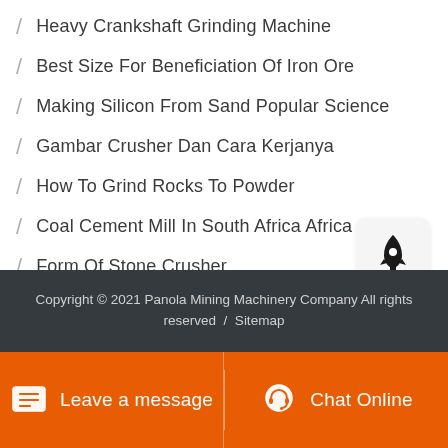Heavy Crankshaft Grinding Machine
Best Size For Beneficiation Of Iron Ore
Making Silicon From Sand Popular Science
Gambar Crusher Dan Cara Kerjanya
How To Grind Rocks To Powder
Coal Cement Mill In South Africa Africa
Form Of Stone Crusher
[Figure (illustration): Rocket icon button on light grey rounded square background]
Copyright © 2021 Panola Mining Machinery Company All rights reserved  /  Sitemap
Leave a message   Chat Online